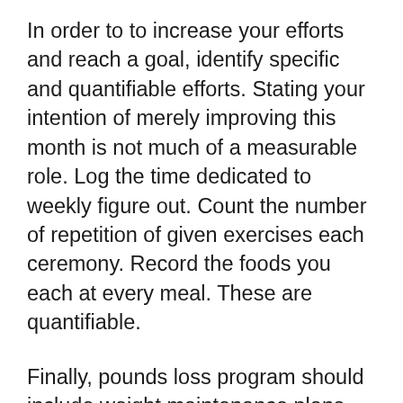In order to to increase your efforts and reach a goal, identify specific and quantifiable efforts. Stating your intention of merely improving this month is not much of a measurable role. Log the time dedicated to weekly figure out. Count the number of repetition of given exercises each ceremony. Record the foods you each at every meal. These are quantifiable.
Finally, pounds loss program should include weight maintenance plans. Once you achieve your desired weight loss, you should certainly maintain it. It is useless to sign up to a program, lose weight, and then gain back that weight afterwards. However lose weight, you should be able to maintain so it.